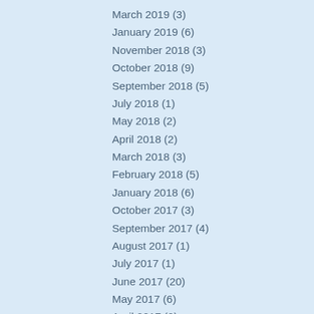March 2019 (3)
January 2019 (6)
November 2018 (3)
October 2018 (9)
September 2018 (5)
July 2018 (1)
May 2018 (2)
April 2018 (2)
March 2018 (3)
February 2018 (5)
January 2018 (6)
October 2017 (3)
September 2017 (4)
August 2017 (1)
July 2017 (1)
June 2017 (20)
May 2017 (6)
April 2017 (2)
March 2017 (6)
February 2017 (3)
January 2017 (4)
December 2016 (1)
November 2016 (4)